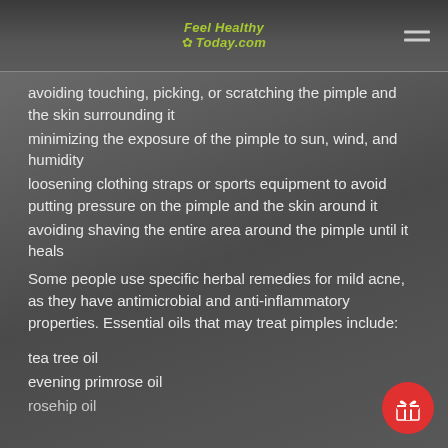Feel Healthy Today.com
avoiding touching, picking, or scratching the pimple and the skin surrounding it
minimizing the exposure of the pimple to sun, wind, and humidity
loosening clothing straps or sports equipment to avoid putting pressure on the pimple and the skin around it
avoiding shaving the entire area around the pimple until it heals
Some people use specific herbal remedies for mild acne, as they have antimicrobial and anti-inflammatory properties. Essential oils that may treat pimples include:
tea tree oil
evening primrose oil
rosehip oil